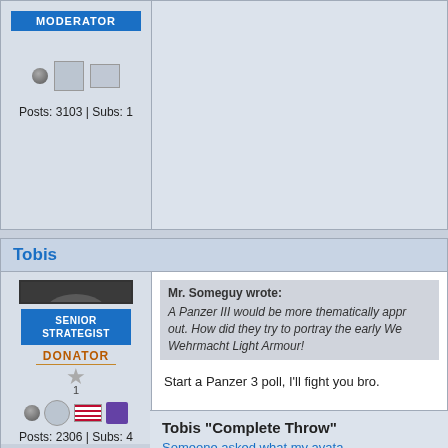MODERATOR
Posts: 3103 | Subs: 1
Tobis
[Figure (photo): Avatar photo of a person wearing a military helmet and glasses, dark clothing, appears to be Tobis user profile picture]
SENIOR STRATEGIST
DONATOR
Posts: 2306 | Subs: 4
Mr. Someguy wrote:
A Panzer III would be more thematically appr... out. How did they try to portray the early We... Wehrmacht Light Armour!
Start a Panzer 3 poll, I'll fight you bro.
Tobis "Complete Throw"
Someone asked what my avata...